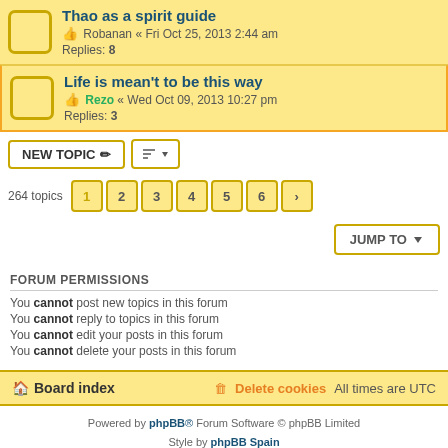Thao as a spirit guide — Robanan « Fri Oct 25, 2013 2:44 am — Replies: 8
Life is mean't to be this way — Rezo « Wed Oct 09, 2013 10:27 pm — Replies: 3
264 topics — pages 1 2 3 4 5 6 >
FORUM PERMISSIONS
You cannot post new topics in this forum
You cannot reply to topics in this forum
You cannot edit your posts in this forum
You cannot delete your posts in this forum
Board index | Delete cookies | All times are UTC
Powered by phpBB® Forum Software © phpBB Limited
Style by phpBB Spain
phpBB Two Factor Authentication © paul999
Privacy | Terms